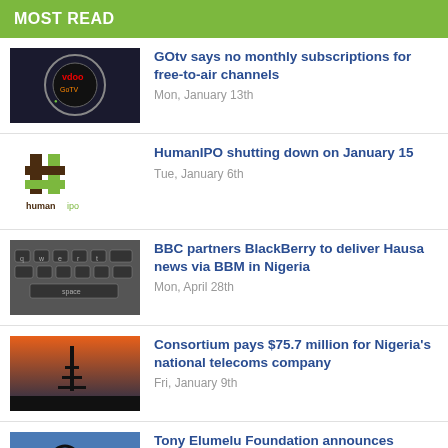MOST READ
GOtv says no monthly subscriptions for free-to-air channels
Mon, January 13th
HumanIPO shutting down on January 15
Tue, January 6th
BBC partners BlackBerry to deliver Hausa news via BBM in Nigeria
Mon, April 28th
Consortium pays $75.7 million for Nigeria's national telecoms company
Fri, January 9th
Tony Elumelu Foundation announces US$100m entrepreneurship programme for 10,000 African startups